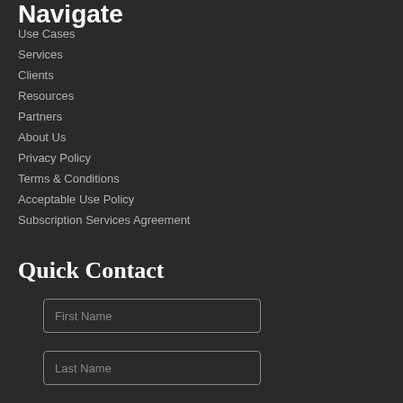Navigate
Use Cases
Services
Clients
Resources
Partners
About Us
Privacy Policy
Terms & Conditions
Acceptable Use Policy
Subscription Services Agreement
Quick Contact
First Name
Last Name